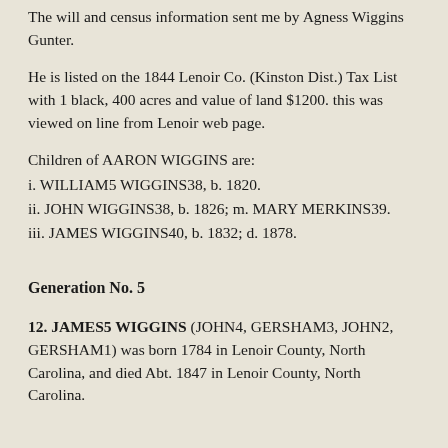The will and census information sent me by Agness Wiggins Gunter.
He is listed on the 1844 Lenoir Co. (Kinston Dist.) Tax List with 1 black, 400 acres and value of land $1200. this was viewed on line from Lenoir web page.
Children of AARON WIGGINS are:
i. WILLIAM5 WIGGINS38, b. 1820.
ii. JOHN WIGGINS38, b. 1826; m. MARY MERKINS39.
iii. JAMES WIGGINS40, b. 1832; d. 1878.
Generation No. 5
12. JAMES5 WIGGINS (JOHN4, GERSHAM3, JOHN2, GERSHAM1) was born 1784 in Lenoir County, North Carolina, and died Abt. 1847 in Lenoir County, North Carolina.